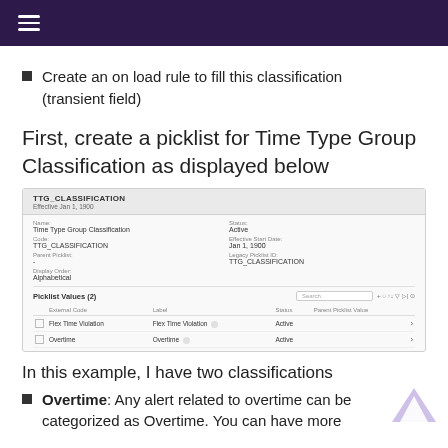≡
Create an on load rule to fill this classification (transient field)
First, create a picklist for Time Type Group Classification as displayed below
[Figure (screenshot): Screenshot of a picklist configuration form for TTG_CLASSIFICATION. Shows Name: Time Type Group Classification, Code: TTG_CLASSIFICATION, Parent Picklist: -, Display Order: Alphabetical, Status: Active, Effective Start Date: Jan 1, 1900, Legacy Picklist ID: TTG_CLASSIFICATION. Picklist Values (2) table with columns External Code, Label, Status, Parent Picklist Value. Rows: Flex Time Violation (Active), Overtime (Active).]
In this example, I have two classifications
Overtime: Any alert related to overtime can be categorized as Overtime. You can have more